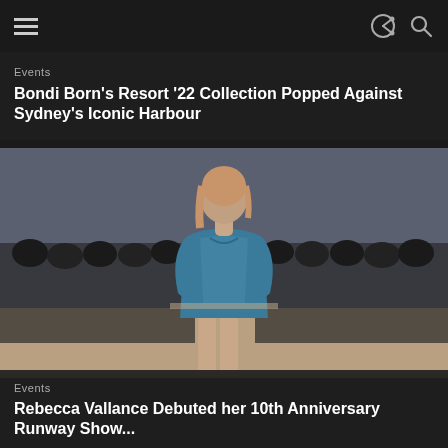Events
Bondi Born's Resort '22 Collection Popped Against Sydney's Iconic Harbour
[Figure (photo): Fashion runway show photo: a model wearing a teal/blue velvet long-sleeve mini dress walks the catwalk with seated audience on both sides]
Events
Rebecca Vallance Debuted her 10th Anniversary Runway Show...